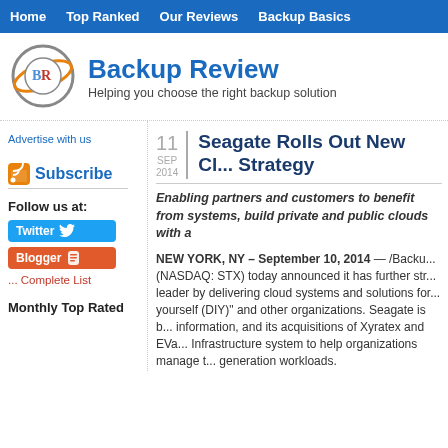Home  Top Ranked  Our Reviews  Backup Basics
[Figure (logo): Backup Review circular logo with BR initials and orange orbital ring]
Backup Review
Helping you choose the right backup solution
Advertise with us
11 SEP 2014
Seagate Rolls Out New Cl... Strategy
Subscribe
Follow us at:
Twitter
Blogger
... Complete List
Monthly Top Rated
Enabling partners and customers to benefit from systems, build private and public clouds with a
NEW YORK, NY – September 10, 2014 — /Backu... (NASDAQ: STX) today announced it has further str... leader by delivering cloud systems and solutions for... yourself (DIY)" and other organizations. Seagate is b... information, and its acquisitions of Xyratex and EVa... Infrastructure system to help organizations manage t... generation workloads.